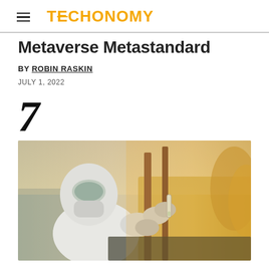TECHONOMY
Metaverse Metastandard
BY ROBIN RASKIN
JULY 1, 2022
7
[Figure (photo): Person in white hazmat suit and respirator mask holding a test tube or vial, outdoors with blurred background of pipes and vegetation in warm light]